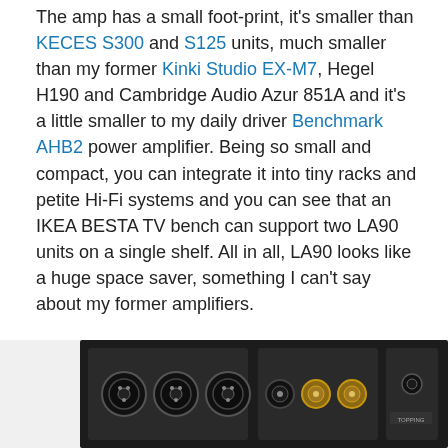The amp has a small foot-print, it's smaller than KECES S300 and S125 units, much smaller than my former Kinki Studio EX-M7, Hegel H190 and Cambridge Audio Azur 851A and it's a little smaller to my daily driver Benchmark AHB2 power amplifier. Being so small and compact, you can integrate it into tiny racks and petite Hi-Fi systems and you can see that an IKEA BESTA TV bench can support two LA90 units on a single shelf. All in all, LA90 looks like a huge space saver, something I can't say about my former amplifiers.
All in all, Topping cared for the look and build-quality of their units and that can be immediately felt while closely inspecting the unit.
[Figure (photo): Rear panel of an audio amplifier showing XLR inputs, binding posts, and other connectors on a dark chassis]